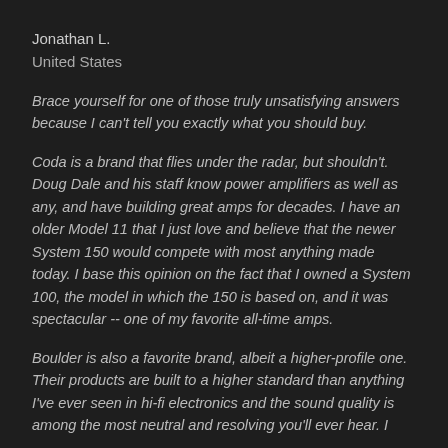Jonathan L.
United States
Brace yourself for one of those truly unsatisfying answers because I can't tell you exactly what you should buy.
Coda is a brand that flies under the radar, but shouldn't. Doug Dale and his staff know power amplifiers as well as any, and have building great amps for decades. I have an older Model 11 that I just love and believe that the newer System 150 would compete with most anything made today. I base this opinion on the fact that I owned a System 100, the model in which the 150 is based on, and it was spectacular -- one of my favorite all-time amps.
Boulder is also a favorite brand, albeit a higher-profile one. Their products are built to a higher standard than anything I've ever seen in hi-fi electronics and the sound quality is among the most neutral and resolving you'll ever hear. I